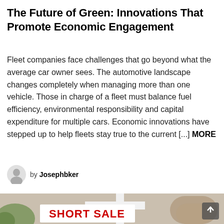The Future of Green: Innovations That Promote Economic Engagement
Fleet companies face challenges that go beyond what the average car owner sees. The automotive landscape changes completely when managing more than one vehicle. Those in charge of a fleet must balance fuel efficiency, environmental responsibility and capital expenditure for multiple cars. Economic innovations have stepped up to help fleets stay true to the current [...] MORE
by Josephbker
[Figure (photo): Outdoor real estate sign reading 'SHORT SALE' in bold red letters on a white board, with a beige stucco house and arched doorway in the background. A scroll-to-top button is visible in the bottom right corner.]